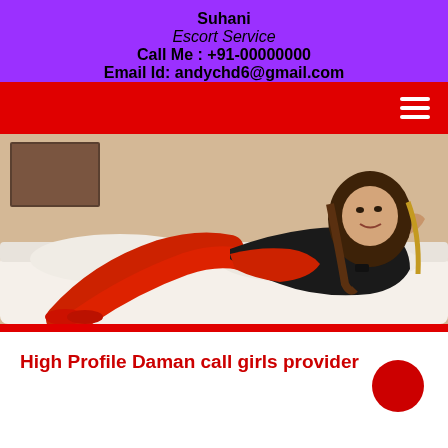Suhani
Escort Service
Call Me : +91-00000000
Email Id: andychd6@gmail.com
[Figure (photo): Woman in red outfit reclining on a white sofa]
High Profile Daman call girls provider